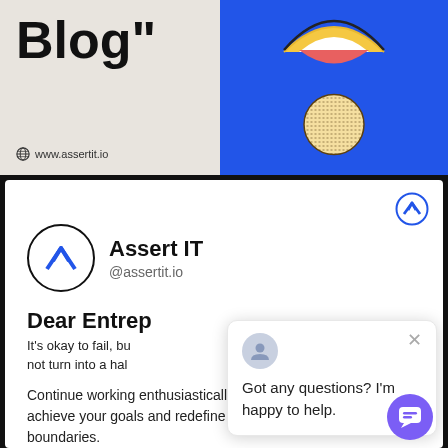[Figure (screenshot): Top banner split into two sections: left beige area showing 'Blog"' text and www.assertit.io website link, right blue area with illustrated smiley face elements]
[Figure (screenshot): Assert IT social media profile card showing logo, name, handle @assertit.io, post text about entrepreneurs, with a chat popup overlay saying 'Got any questions? I'm happy to help.' and purple chat bubble button]
Blog"
www.assertit.io
Assert IT
@assertit.io
Dear Entrep
It's okay to fail, bu not turn into a hal
Continue working enthusiastically to achieve your goals and redefine your boundaries.
Don't worry about online growth; we'll manage it all.
Got any questions? I'm happy to help.